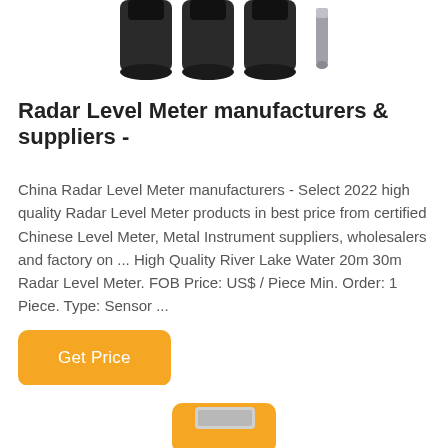[Figure (photo): Top portion of radar level meter sensors with black cylindrical connectors and a metal probe, shown from above on white background]
Radar Level Meter manufacturers & suppliers -
China Radar Level Meter manufacturers - Select 2022 high quality Radar Level Meter products in best price from certified Chinese Level Meter, Metal Instrument suppliers, wholesalers and factory on ... High Quality River Lake Water 20m 30m Radar Level Meter. FOB Price: US$ / Piece Min. Order: 1 Piece. Type: Sensor ...
[Figure (photo): Bottom portion of a yellow handheld measurement instrument or radar level meter device, partially visible at the bottom of the page]